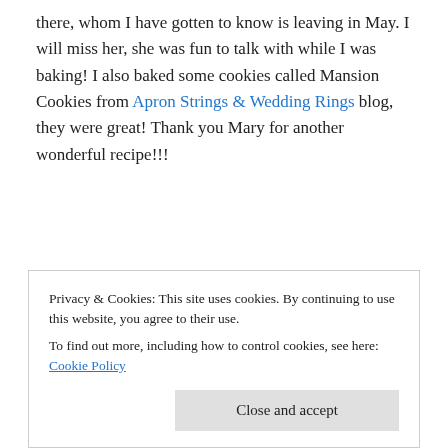there, whom I have gotten to know is leaving in May. I will miss her, she was fun to talk with while I was baking! I also baked some cookies called Mansion Cookies from Apron Strings & Wedding Rings blog, they were great! Thank you Mary for another wonderful recipe!!!
Mississippi Mud Cake:
1 cup melted butter, 2 sticks
1/2 cocoa powder
2 cups granulated sugar
Privacy & Cookies: This site uses cookies. By continuing to use this website, you agree to their use. To find out more, including how to control cookies, see here: Cookie Policy